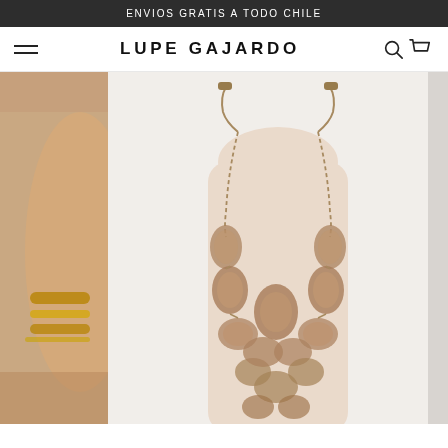ENVIOS GRATIS A TODO CHILE
LUPE GAJARDO
[Figure (photo): E-commerce product page for Lupe Gajardo jewelry brand. Left side shows a partial thumbnail of a person wearing gold bracelets/jewelry. Main image shows a female torso/mannequin wearing a long statement necklace with large amber/tortoiseshell resin oval beads linked by gold chains, displayed against a pale background.]